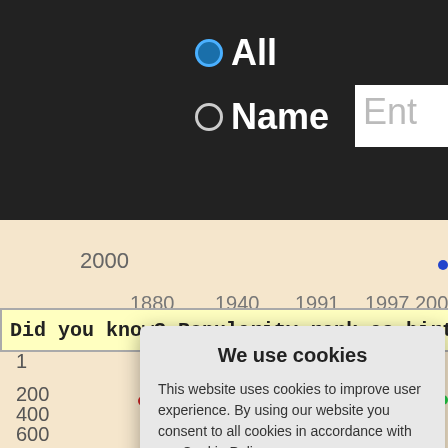[Figure (screenshot): Website UI screenshot showing radio buttons for 'All' and 'Name' search filters, a text input box partially showing 'Ent', a horizontal timeline axis with year labels 1880, 1940, 1991, 1997, 2003 and a y-axis starting at 2000, a 'Did you know?' yellow banner, and a chart with y-axis labels 1, 200, 400, 600, 800 with scattered green, red, and blue dots. Overlaid is a cookie consent dialog box.]
We use cookies
This website uses cookies to improve user experience. By using our website you consent to all cookies in accordance with our Cookie Policy.
Yes I agree
I disagree
Read more
Free cookie consent by cookie-script.com